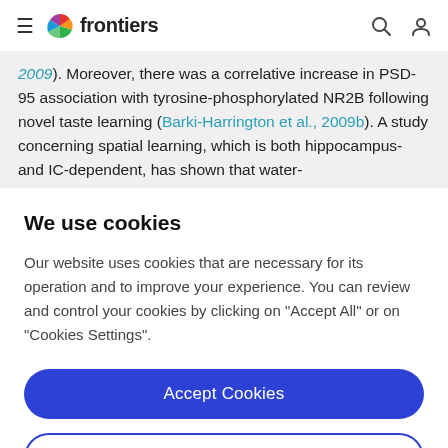frontiers (navigation bar with hamburger menu, logo, search and user icons)
2009). Moreover, there was a correlative increase in PSD-95 association with tyrosine-phosphorylated NR2B following novel taste learning (Barki-Harrington et al., 2009b). A study concerning spatial learning, which is both hippocampus- and IC-dependent, has shown that water-
We use cookies
Our website uses cookies that are necessary for its operation and to improve your experience. You can review and control your cookies by clicking on "Accept All" or on "Cookies Settings".
Accept Cookies
Cookies Settings